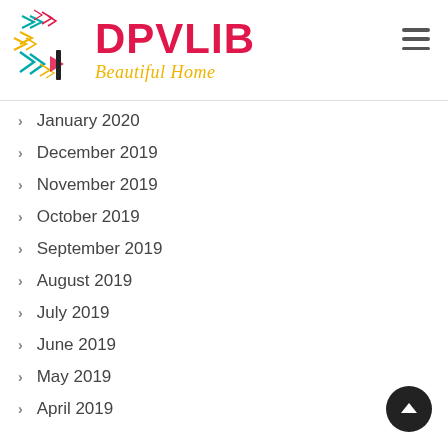[Figure (logo): DPVLIB Beautiful Home logo with geometric arrow/chevron graphic in teal, pink, yellow and red colors]
January 2020
December 2019
November 2019
October 2019
September 2019
August 2019
July 2019
June 2019
May 2019
April 2019